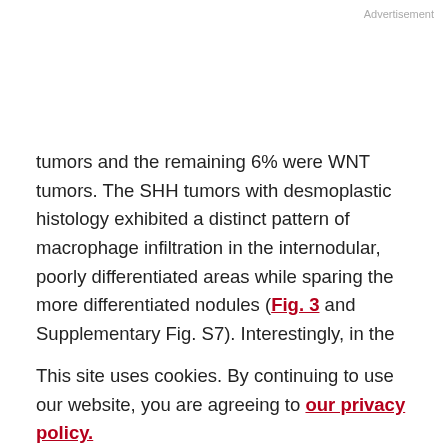Advertisement
tumors and the remaining 6% were WNT tumors. The SHH tumors with desmoplastic histology exhibited a distinct pattern of macrophage infiltration in the internodular, poorly differentiated areas while sparing the more differentiated nodules (Fig. 3 and Supplementary Fig. S7). Interestingly, in the subset of SHH medulloblastomas with classic histology, CD163+ macrophages sometimes loosely recapitulated this lobular
This site uses cookies. By continuing to use our website, you are agreeing to our privacy policy. Accept n described in cells in the presence of